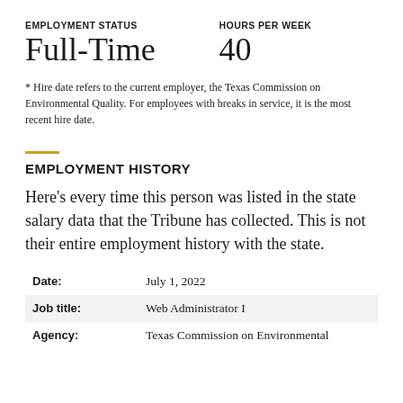EMPLOYMENT STATUS
HOURS PER WEEK
Full-Time
40
* Hire date refers to the current employer, the Texas Commission on Environmental Quality. For employees with breaks in service, it is the most recent hire date.
EMPLOYMENT HISTORY
Here’s every time this person was listed in the state salary data that the Tribune has collected. This is not their entire employment history with the state.
| Field | Value |
| --- | --- |
| Date: | July 1, 2022 |
| Job title: | Web Administrator I |
| Agency: | Texas Commission on Environmental |